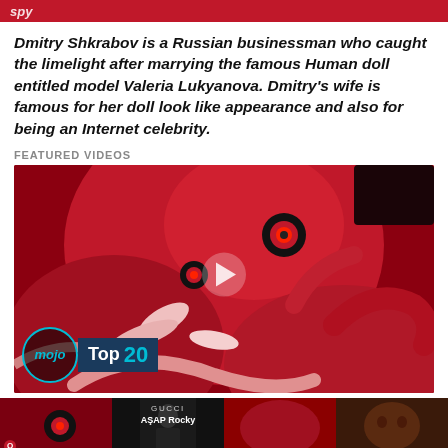Dmitry Shkrabov is a Russian businessman who caught the limelight after marrying the famous Human doll entitled model Valeria Lukyanova. Dmitry’s wife is famous for her doll look like appearance and also for being an Internet celebrity.
FEATURED VIDEOS
[Figure (screenshot): Video thumbnail showing animated red demon creature with glowing eyes, WatchMojo Top 20 overlay at bottom left, play button in center]
[Figure (photo): Row of four small video thumbnails at bottom of page including animated demon, person in suit with GUCCI text, and other images]